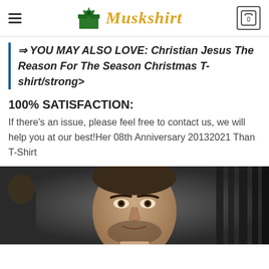Muskshirt
⇒ YOU MAY ALSO LOVE: Christian Jesus The Reason For The Season Christmas T-shirt/strong>
100% SATISFACTION:
If there's an issue, please feel free to contact us, we will help you at our best!Her 08th Anniversary 20132021 Than T-Shirt
[Figure (photo): A man's face in close-up, dark background, appears to be in an indoor setting]